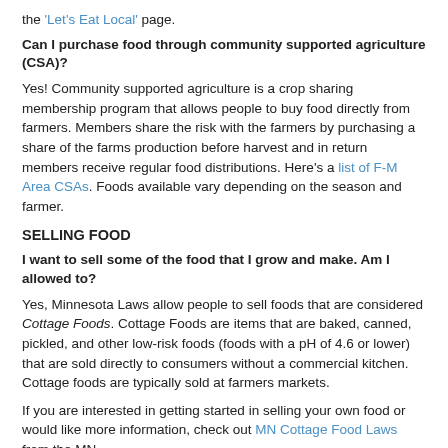the 'Let's Eat Local' page.
Can I purchase food through community supported agriculture (CSA)?
Yes!  Community supported agriculture is a crop sharing membership program that allows people to buy food directly from farmers.  Members share the risk with the farmers by purchasing a share of the farms production before harvest and in return members receive regular food distributions.  Here's a list of F-M Area CSAs.  Foods available vary depending on the season and farmer.
SELLING FOOD
I want to sell some of the food that I grow and make.  Am I allowed to?
Yes, Minnesota Laws allow people to sell foods that are considered Cottage Foods.  Cottage Foods are items that are baked, canned, pickled, and other low-risk foods (foods with a pH of 4.6 or lower) that are sold directly to consumers without a commercial kitchen.  Cottage foods are typically sold at farmers markets.
If you are interested in getting started in selling your own food or would like more information, check out MN Cottage Food Laws from the MN